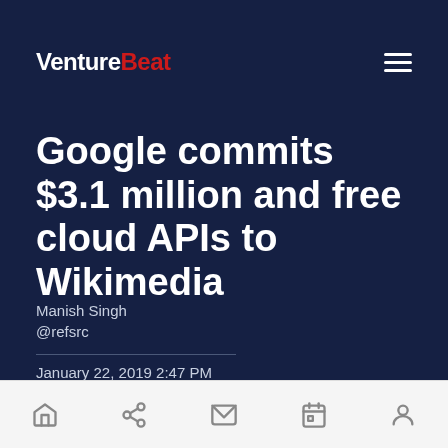VentureBeat
Google commits $3.1 million and free cloud APIs to Wikimedia
Manish Singh
@refsrc
January 22, 2019 2:47 PM